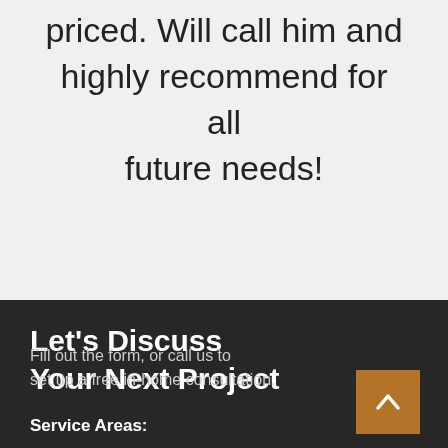priced. Will call him and highly recommend for all future needs!
Let's Discuss Your Next Project
Fill out the form, or call us to set up a free in-home consultation.
Service Areas:
services the Greater Stateline area including but not limited to, Rockford, Loves Park, Machesney Park, Roscoe, Rockton, Freeport, Belvidere, Rochelle